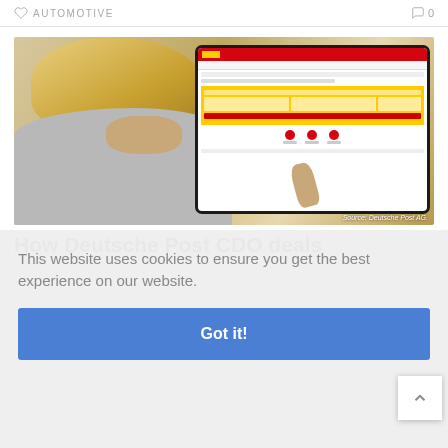AUTOMOTIVE
[Figure (photo): Person using DHL website on a tablet device, viewed from behind, with blonde hair and gray sweater. Source: Deutsche Post AG.]
Source: Deutsche Post AG.
How Deutsche Post CDO deals
This website uses cookies to ensure you get the best experience on our website.
Got it!